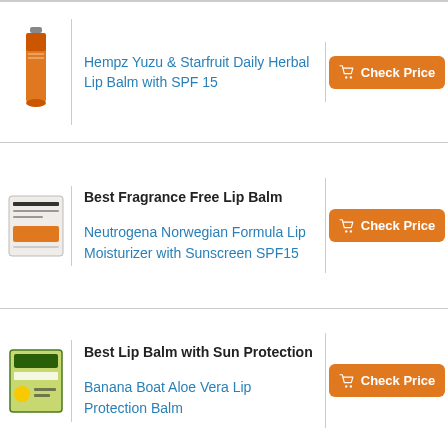| Image | Product | Action |
| --- | --- | --- |
| [Hempz product image] | Hempz Yuzu & Starfruit Daily Herbal Lip Balm with SPF 15 | Check Price |
| [Neutrogena product image] | Best Fragrance Free Lip Balm

Neutrogena Norwegian Formula Lip Moisturizer with Sunscreen SPF15 | Check Price |
| [Banana Boat product image] | Best Lip Balm with Sun Protection

Banana Boat Aloe Vera Lip Protection Balm | Check Price |